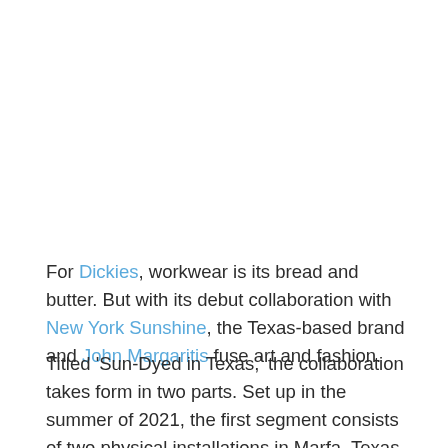For Dickies, workwear is its bread and butter. But with its debut collaboration with New York Sunshine, the Texas-based brand and John Margaritis fuse art and fashion.
Titled 'Sun-Dyed in Texas,' the collaboration takes form in two parts. Set up in the summer of 2021, the first segment consists of two physical installations in Marfa, Texas that stood for six months. A stick-frame house and a series of